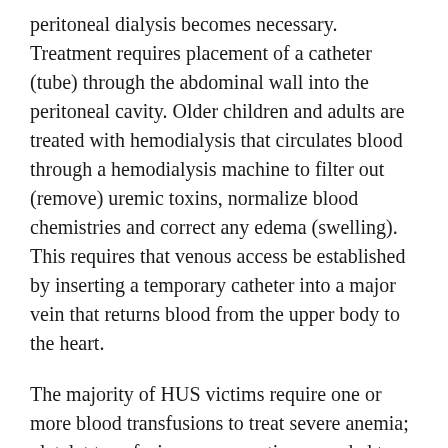peritoneal dialysis becomes necessary. Treatment requires placement of a catheter (tube) through the abdominal wall into the peritoneal cavity. Older children and adults are treated with hemodialysis that circulates blood through a hemodialysis machine to filter out (remove) uremic toxins, normalize blood chemistries and correct any edema (swelling). This requires that venous access be established by inserting a temporary catheter into a major vein that returns blood from the upper body to the heart.
The majority of HUS victims require one or more blood transfusions to treat severe anemia; platelet transfusions are sometimes needed to diminish the risk of bleeding in those with severe thrombocytopenia (i.e., platelet counts less than 10,000), to control bleeding, or in preparation for an invasive vascular